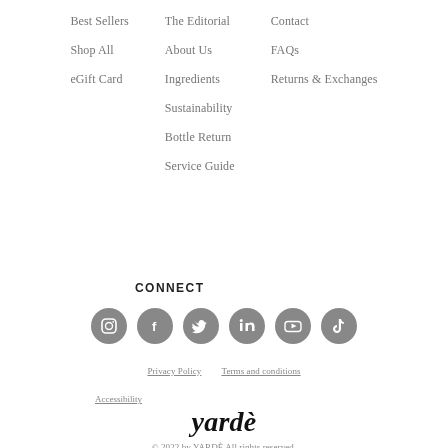Best Sellers
Shop All
eGift Card
The Editorial
About Us
Ingredients
Sustainability
Bottle Return
Service Guide
Contact
FAQs
Returns & Exchanges
CONNECT
[Figure (infographic): Six social media icons (Instagram, Facebook, Twitter, LinkedIn, YouTube, TikTok) displayed as grey circles in a row]
Privacy Policy     Terms and conditions
Accessibility
yardè
© 2022 by YARDÈ All rights reserved.